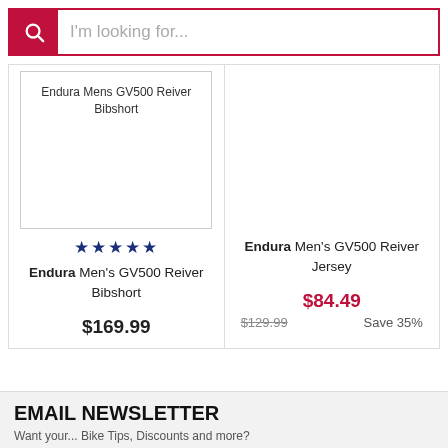I'm looking for...
Endura Mens GV500 Reiver Bibshort
★★★★★ Endura Men's GV500 Reiver Bibshort $169.99
Endura Men's GV500 Reiver Jersey $84.49 $129.99 Save 35%
EMAIL NEWSLETTER
Want your... Bike Tips, Discounts and more?